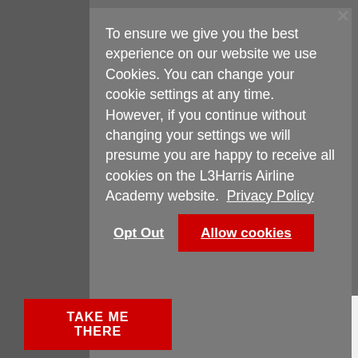To ensure we give you the best experience on our website we use Cookies. You can change your cookie settings at any time. However, if you continue without changing your settings we will presume you are happy to receive all cookies on the L3Harris Airline Academy website. Privacy Policy
Opt Out
Allow cookies
TAKE ME THERE
I'm fine where I am